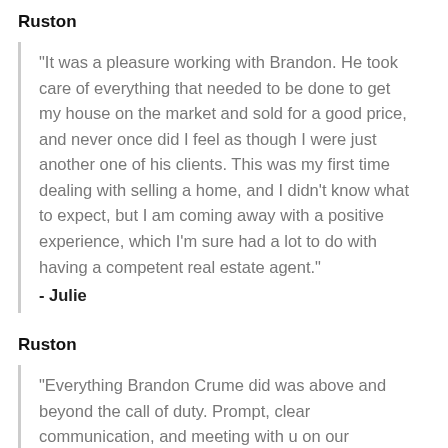Ruston
"It was a pleasure working with Brandon. He took care of everything that needed to be done to get my house on the market and sold for a good price, and never once did I feel as though I were just another one of his clients. This was my first time dealing with selling a home, and I didn't know what to expect, but I am coming away with a positive experience, which I'm sure had a lot to do with having a competent real estate agent."
- Julie
Ruston
"Everything Brandon Crume did was above and beyond the call of duty. Prompt, clear communication, and meeting with u on our schedule proves just from this point something...